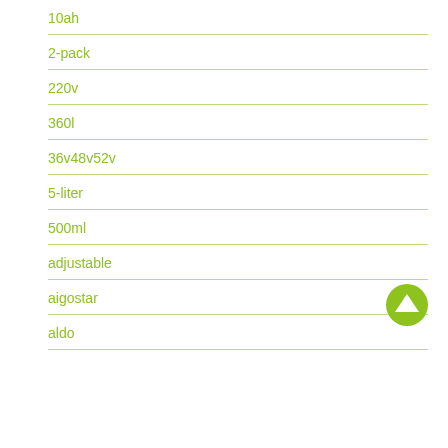10ah
2-pack
220v
360l
36v48v52v
5-liter
500ml
adjustable
aigostar
aldo